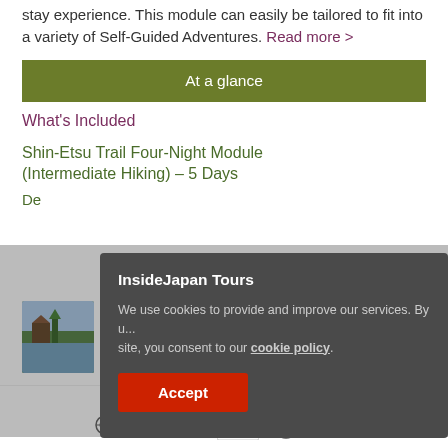stay experience. This module can easily be tailored to fit into a variety of Self-Guided Adventures. Read more >
At a glance
What's Included
Shin-Etsu Trail Four-Night Module (Intermediate Hiking) – 5 Days
De...
[Figure (photo): Photo of Japanese landscape with traditional building near water]
InsideJapan Tours
We use cookies to provide and improve our services. By using our site, you consent to our cookie policy.
Accept
ACCREDITATIONS
ABTA | ATAS accreditation logos